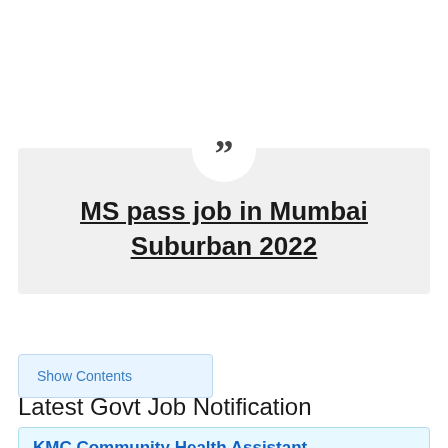MS pass job in Mumbai Suburban 2022
Show Contents
Latest Govt Job Notification
KMC Community Health Assistant